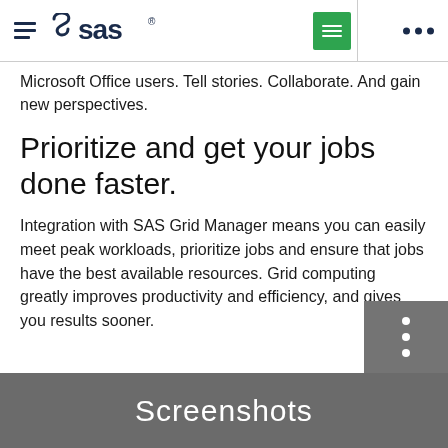SAS logo and navigation header
Microsoft Office users. Tell stories. Collaborate. And gain new perspectives.
Prioritize and get your jobs done faster.
Integration with SAS Grid Manager means you can easily meet peak workloads, prioritize jobs and ensure that jobs have the best available resources. Grid computing greatly improves productivity and efficiency, and gives you results sooner.
Screenshots